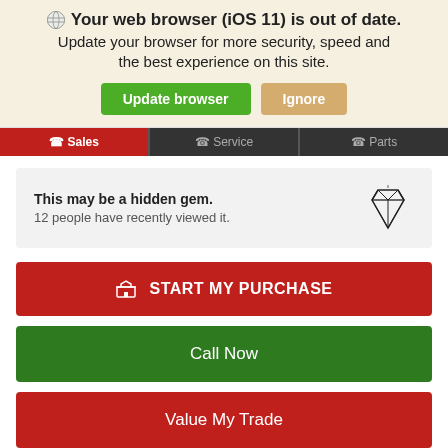🌐 Your web browser (iOS 11) is out of date. Update your browser for more security, speed and the best experience on this site. [Update browser] [Ignore]
📞 Sales   📞 Service   📞 Parts
This may be a hidden gem. 12 people have recently viewed it.
🏠 START MY PURCHASE
Call Now
Value My Trade